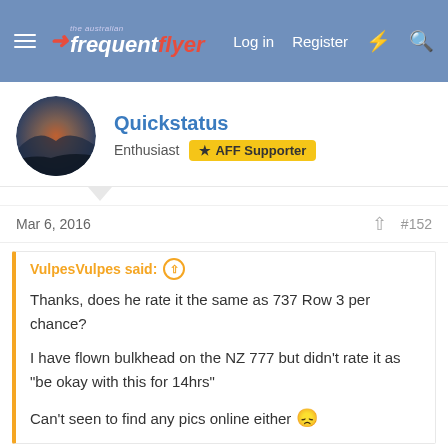the australian frequent flyer — Log in  Register
Quickstatus
Enthusiast   AFF Supporter
Mar 6, 2016   #152
VulpesVulpes said: Thanks, does he rate it the same as 737 Row 3 per chance?

I have flown bulkhead on the NZ 777 but didn't rate it as "be okay with this for 14hrs"

Can't seen to find any pics online either 😕
Difficult to say.
737 R3 is always on short haul
NZ777 Bulkhead Y is different as its a row of 10.
I wont fly a 777 with 10 across unless there is no other choice.